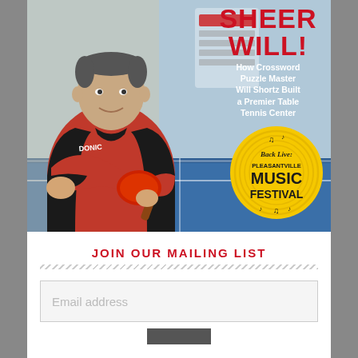[Figure (photo): Magazine cover showing a man in a red and black Donic table tennis shirt holding a red paddle, standing in a table tennis center. Text overlay reads 'SHEER WILL! How Crossword Puzzle Master Will Shortz Built a Premier Table Tennis Center'. A circular badge reads 'Back Live: Pleasantville MUSIC FESTIVAL'.]
JOIN OUR MAILING LIST
Email address